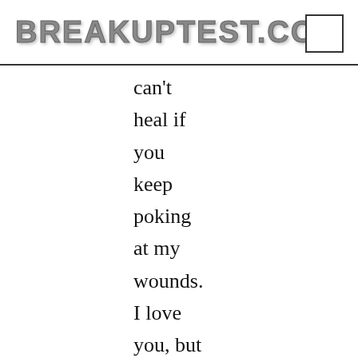BREAKUPTEST.COM
can't heal if you keep poking at my wounds. I love you, but more and more I am seeing that even if